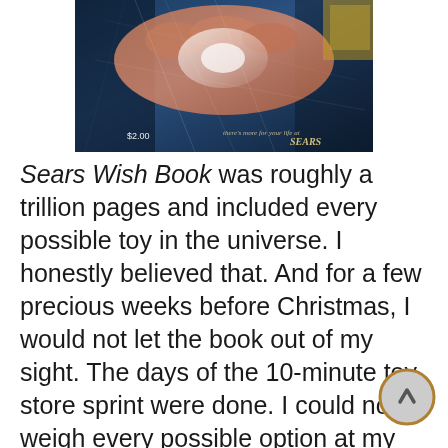[Figure (photo): Cover of the Sears Wish Book catalog showing a hand holding the catalog. Price tag reads $2.00. Cursive text reads 'there's more for your life at Sears'. Image has scratch/web overlay effect.]
Sears Wish Book was roughly a trillion pages and included every possible toy in the universe. I honestly believed that. And for a few precious weeks before Christmas, I would not let the book out of my sight. The days of the 10-minute toy store sprint were done. I could now weigh every possible option at my own leisure, without the worry of overlooking a single Decepticon. The once crisp pages became tattered and torn. Corners were dog-